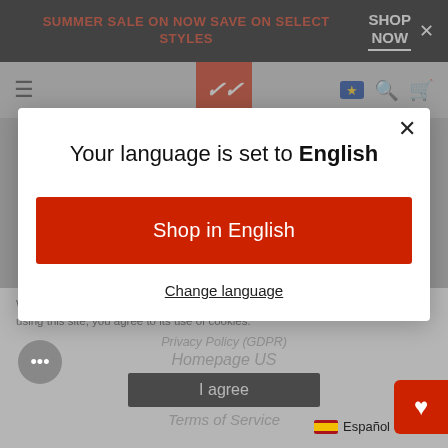SUMMER SALE ON NOW SAVE ON SELECT STYLES | SHOP NOW
[Figure (screenshot): Website navigation bar with hamburger menu, brand logo (red square with white italic lettering), EU flag icon, search icon, and cart icon]
[Figure (screenshot): Modal dialog overlay on website with title 'Your language is set to English', a red 'Shop in English' button, and a 'Change language' text link with close X button]
We use cookies on our website to give you the best shopping experience. By using this site, you agree to its use of cookies.
Homepage US
I agree
Terms of Service
Español